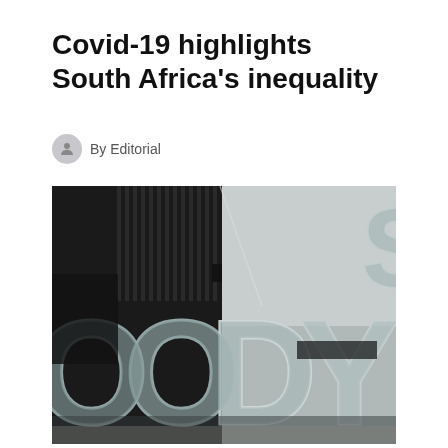Covid-19 highlights South Africa’s inequality
By Editorial
[Figure (photo): Close-up photograph of the Moody's credit rating agency signage showing large chrome letters reading 'MOODY'S' on a dark background]